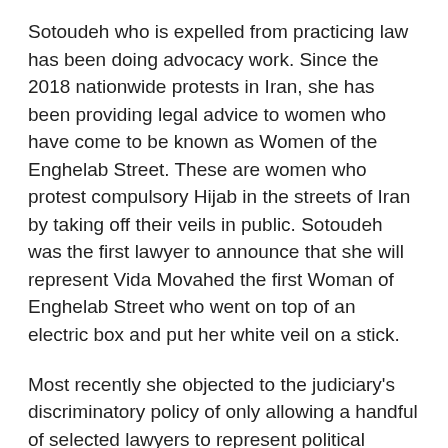Sotoudeh who is expelled from practicing law has been doing advocacy work. Since the 2018 nationwide protests in Iran, she has been providing legal advice to women who have come to be known as Women of the Enghelab Street. These are women who protest compulsory Hijab in the streets of Iran by taking off their veils in public. Sotoudeh was the first lawyer to announce that she will represent Vida Movahed the first Woman of Enghelab Street who went on top of an electric box and put her white veil on a stick.
Most recently she objected to the judiciary's discriminatory policy of only allowing a handful of selected lawyers to represent political prisoners. Political prisoners in Iran have a hard time finding legal representation as is and a few lawyers like Sotoudeh who do dare to help are slapped with national security charges.